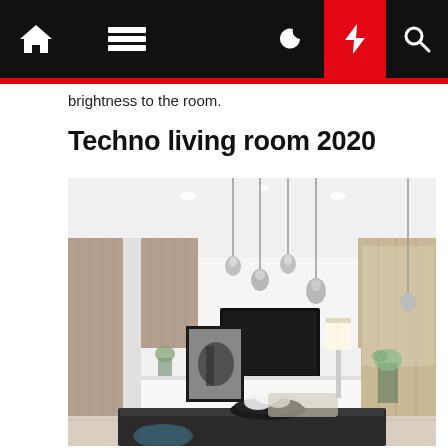Navigation bar with home, menu, moon, lightning, and search icons
brightness to the room.
Techno living room 2020
[Figure (photo): Modern minimalist living room with white walls, pendant lights hanging from the ceiling, a wall-mounted TV, framed artwork, dining table with dark chairs, and flowers in a bowl on the table.]